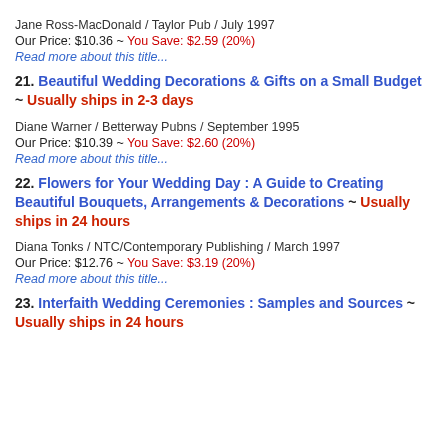Jane Ross-MacDonald / Taylor Pub / July 1997
Our Price: $10.36 ~ You Save: $2.59 (20%)
Read more about this title...
21. Beautiful Wedding Decorations & Gifts on a Small Budget ~ Usually ships in 2-3 days
Diane Warner / Betterway Pubns / September 1995
Our Price: $10.39 ~ You Save: $2.60 (20%)
Read more about this title...
22. Flowers for Your Wedding Day : A Guide to Creating Beautiful Bouquets, Arrangements & Decorations ~ Usually ships in 24 hours
Diana Tonks / NTC/Contemporary Publishing / March 1997
Our Price: $12.76 ~ You Save: $3.19 (20%)
Read more about this title...
23. Interfaith Wedding Ceremonies : Samples and Sources ~ Usually ships in 24 hours